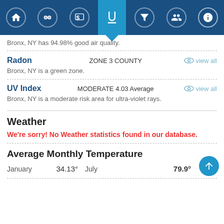Navigation icons header bar
Bronx, NY has 94.98% good air quality.
Radon  ZONE 3 COUNTY  view all
Bronx, NY is a green zone.
UV Index  MODERATE 4.03 Average  view all
Bronx, NY is a moderate risk area for ultra-violet rays.
Weather
We're sorry! No Weather statistics found in our database.
Average Monthly Temperature
January  34.13°  July  79.9°